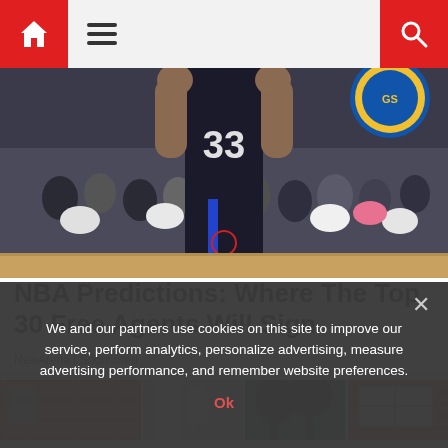Navigation bar with home icon, hamburger menu, and search icon
[Figure (photo): Basketball player wearing jersey number 33 in a black uniform on a court, with a crowd in the background and a circular logo visible (Golden State Warriors) in the upper right]
NBA Predictions: Where The Top 30 Free Agents Will Sign
NewArena | Sponsored
[Figure (photo): Strip of photos showing brick walls and windows, appearing to be house exterior images]
We and our partners use cookies on this site to improve our service, perform analytics, personalize advertising, measure advertising performance, and remember website preferences.
Ok